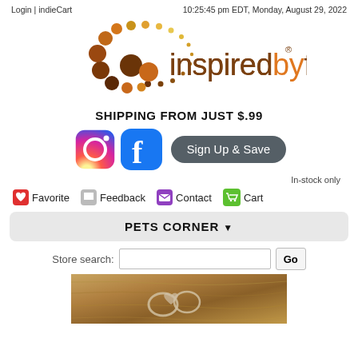Login | indieCart	10:25:45 pm EDT, Monday, August 29, 2022
[Figure (logo): inspiredbyfinn logo — circular dot pattern in orange, brown, and gold colors with the text 'inspiredbyfinn' in brown and orange lowercase letters with a registered trademark symbol]
SHIPPING FROM JUST $.99
[Figure (infographic): Instagram icon, Facebook icon, and a dark rounded 'Sign Up & Save' button]
In-stock only
Favorite   Feedback   Contact   Cart
PETS CORNER
Store search:
[Figure (photo): Bottom portion of a product photo showing metal rings/hardware against a wood or stone textured background]